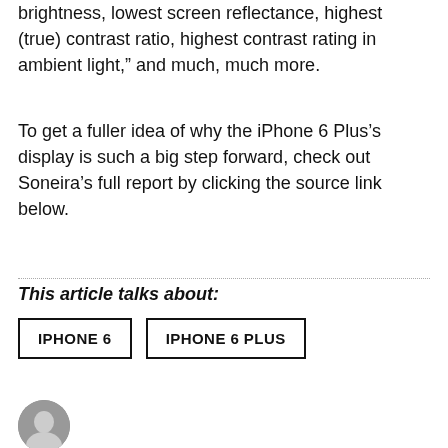brightness, lowest screen reflectance, highest (true) contrast ratio, highest contrast rating in ambient light,” and much, much more.
To get a fuller idea of why the iPhone 6 Plus’s display is such a big step forward, check out Soneira’s full report by clicking the source link below.
This article talks about:
IPHONE 6
IPHONE 6 PLUS
[Figure (photo): Author avatar - small circular portrait photo]